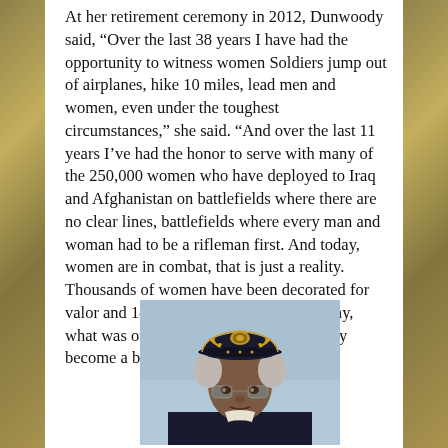At her retirement ceremony in 2012, Dunwoody said, “Over the last 38 years I have had the opportunity to witness women Soldiers jump out of airplanes, hike 10 miles, lead men and women, even under the toughest circumstances,” she said. “And over the last 11 years I’ve had the honor to serve with many of the 250,000 women who have deployed to Iraq and Afghanistan on battlefields where there are no clear lines, battlefields where every man and woman had to be a rifleman first. And today, women are in combat, that is just a reality. Thousands of women have been decorated for valor and 146 have given their lives. Today, what was once a band of brothers has truly become a band of brothers and sisters.”
[Figure (photo): Portrait photo of a military officer (woman) wearing a dark Navy cap with gold insignia and medals, silver hair, glasses, light blue background.]